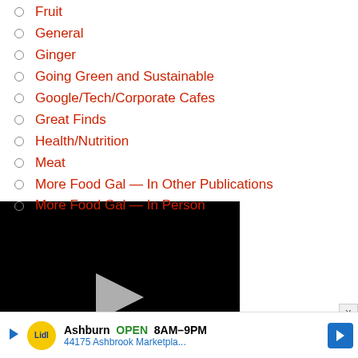Fruit
General
Ginger
Going Green and Sustainable
Google/Tech/Corporate Cafes
Great Finds
Health/Nutrition
Meat
More Food Gal — In Other Publications
More Food Gal — In Person
[Figure (screenshot): Embedded video player showing a paused video with black background, play button, progress bar at 13:52, and media controls including volume, closed captions, grid, settings, and fullscreen buttons.]
Spirits/Cocktails/Beer
Ashburn OPEN 8AM-9PM 44175 Ashbrook Marketpla...